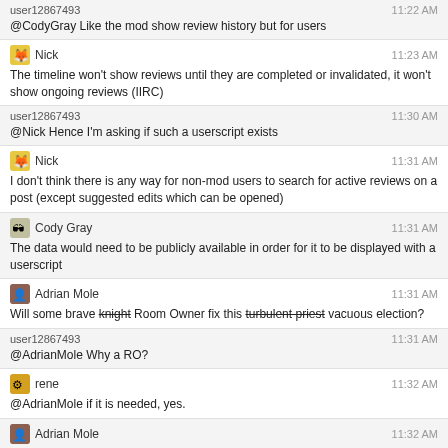user12867493  11:22 AM
@CodyGray Like the mod show review history but for users
Nick  11:23 AM
The timeline won't show reviews until they are completed or invalidated, it won't show ongoing reviews (IIRC)
user12867493  11:30 AM
@Nick Hence I'm asking if such a userscript exists
Nick  11:31 AM
I don't think there is any way for non-mod users to search for active reviews on a post (except suggested edits which can be opened)
Cody Gray  11:31 AM
The data would need to be publicly available in order for it to be displayed with a userscript
Adrian Mole  11:31 AM
Will some brave knight Room Owner fix this turbulent priest vacuous election?
user12867493  11:31 AM
@AdrianMole Why a RO?
rene  11:32 AM
@AdrianMole if it is needed, yes.
Adrian Mole  11:32 AM
It's a subtle hint.